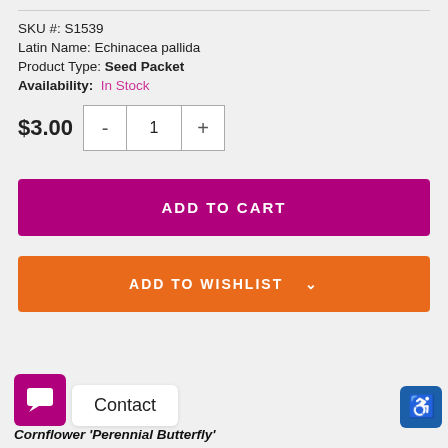SKU #: S1539
Latin Name: Echinacea pallida
Product Type: Seed Packet
Availability: In Stock
$3.00
ADD TO CART
ADD TO WISHLIST
Contact
Cornflower 'Perennial Butterfly'